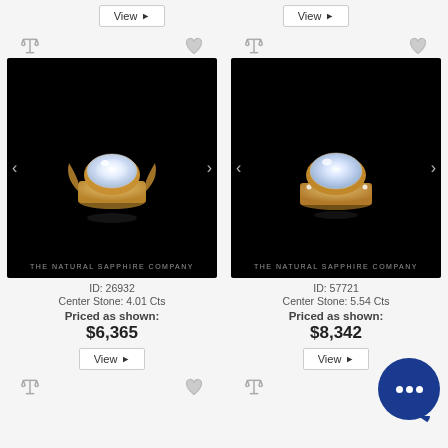[Figure (other): Two 'View' buttons at top of product listing page]
[Figure (photo): White sapphire oval ring with rose gold filigree setting on black background, ID 26932, Center Stone 4.01 Cts, The Natural Sapphire Company watermark]
ID: 26932
Center Stone: 4.01 Cts
Priced as shown:
$6,365
[Figure (photo): White sapphire oval ring with rose gold pavé setting on black background, ID 57721, Center Stone 5.54 Cts, The Natural Sapphire Company watermark]
ID: 57721
Center Stone: 5.54 Cts
Priced as shown:
$8,342